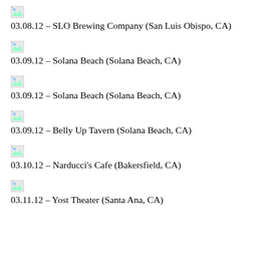[Figure (other): Broken image icon placeholder]
03.08.12 – SLO Brewing Company (San Luis Obispo, CA)
[Figure (other): Broken image icon placeholder]
03.09.12 – Solana Beach (Solana Beach, CA)
[Figure (other): Broken image icon placeholder]
03.09.12 – Solana Beach (Solana Beach, CA)
[Figure (other): Broken image icon placeholder]
03.09.12 – Belly Up Tavern (Solana Beach, CA)
[Figure (other): Broken image icon placeholder]
03.10.12 – Narducci's Cafe (Bakersfield, CA)
[Figure (other): Broken image icon placeholder]
03.11.12 – Yost Theater (Santa Ana, CA)